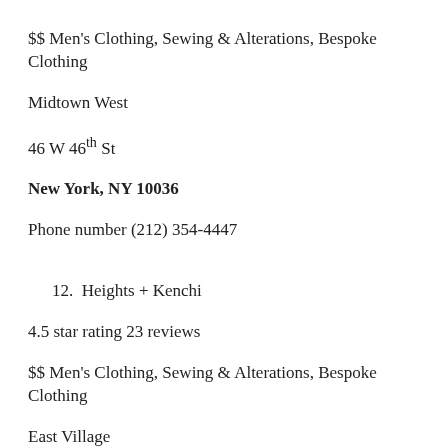$$ Men's Clothing, Sewing & Alterations, Bespoke Clothing
Midtown West
46 W 46th St
New York, NY 10036
Phone number (212) 354-4447
12.  Heights + Kenchi
4.5 star rating 23 reviews
$$ Men's Clothing, Sewing & Alterations, Bespoke Clothing
East Village